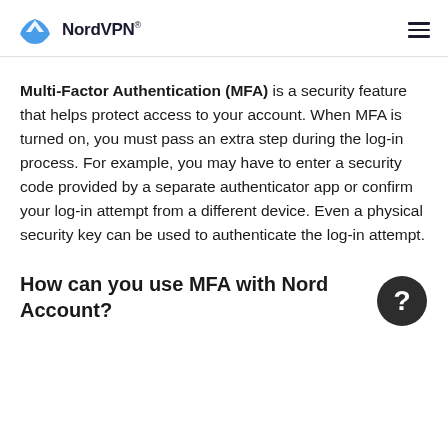NordVPN®
Multi-Factor Authentication (MFA) is a security feature that helps protect access to your account. When MFA is turned on, you must pass an extra step during the log-in process. For example, you may have to enter a security code provided by a separate authenticator app or confirm your log-in attempt from a different device. Even a physical security key can be used to authenticate the log-in attempt.
How can you use MFA with Nord Account?